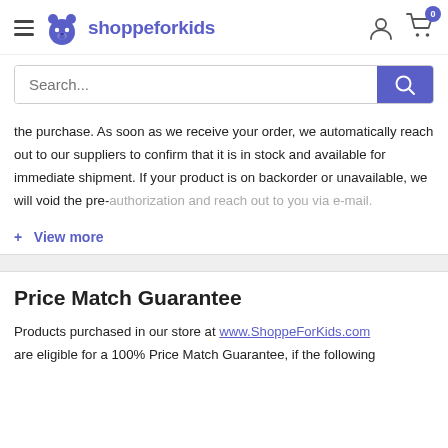shoppeforkids
the purchase.  As soon as we receive your order, we automatically reach out to our suppliers to confirm that it is in stock and available for immediate shipment.  If your product is on backorder or unavailable, we will void the pre-authorization and reach out to you via e-mail.
+ View more
Price Match Guarantee
Products purchased in our store at www.ShoppeForKids.com are eligible for a 100% Price Match Guarantee, if the following